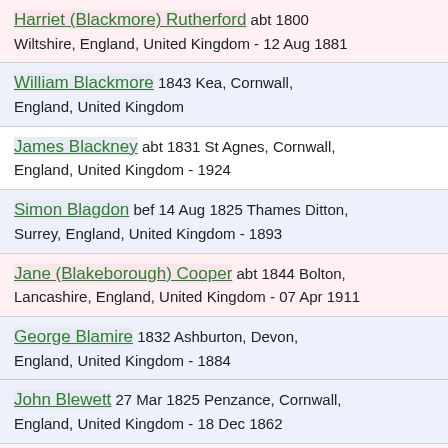Harriet (Blackmore) Rutherford abt 1800 Wiltshire, England, United Kingdom - 12 Aug 1881
William Blackmore 1843 Kea, Cornwall, England, United Kingdom
James Blackney abt 1831 St Agnes, Cornwall, England, United Kingdom - 1924
Simon Blagdon bef 14 Aug 1825 Thames Ditton, Surrey, England, United Kingdom - 1893
Jane (Blakeborough) Cooper abt 1844 Bolton, Lancashire, England, United Kingdom - 07 Apr 1911
George Blamire 1832 Ashburton, Devon, England, United Kingdom - 1884
John Blewett 27 Mar 1825 Penzance, Cornwall, England, United Kingdom - 18 Dec 1862
Fanny (Blood) Frankcom 1855 Derbyshire, England, United Kingdom - ...